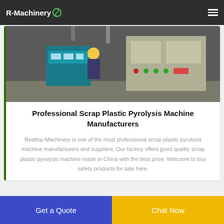R-Machinery
[Figure (photo): Industrial machinery photo showing workers operating scrap plastic pyrolysis equipment with control panels]
Professional Scrap Plastic Pyrolysis Machine Manufacturers
Realtop Machinery is one of the most professional scrap plastic pyrolysis machine manufacturers and suppliers. Our factory offers good quality scrap plastic pyrolysis machine made in China with the best price. Welcome to buy safety products for sale here.
Get a Quote
Chat Now